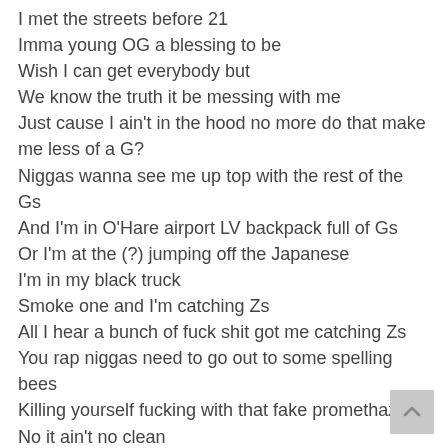I met the streets before 21
Imma young OG a blessing to be
Wish I can get everybody but
We know the truth it be messing with me
Just cause I ain't in the hood no more do that make me less of a G?
Niggas wanna see me up top with the rest of the Gs
And I'm in O'Hare airport LV backpack full of Gs
Or I'm at the (?) jumping off the Japanese
I'm in my black truck
Smoke one and I'm catching Zs
All I hear a bunch of fuck shit got me catching Zs
You rap niggas need to go out to some spelling bees
Killing yourself fucking with that fake promethazine
No it ain't no clean
I used to drink on hella lean
Don't let Instagram and fame infiltrate your team